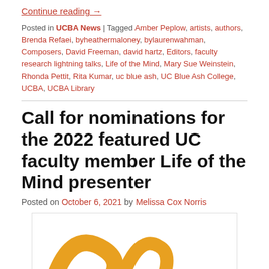Continue reading →
Posted in UCBA News | Tagged Amber Peplow, artists, authors, Brenda Refaei, byheathermaloney, bylaurenwahman, Composers, David Freeman, david hartz, Editors, faculty research lightning talks, Life of the Mind, Mary Sue Weinstein, Rhonda Pettit, Rita Kumar, uc blue ash, UC Blue Ash College, UCBA, UCBA Library
Call for nominations for the 2022 featured UC faculty member Life of the Mind presenter
Posted on October 6, 2021 by Melissa Cox Norris
[Figure (illustration): Partial illustration showing orange decorative curved shapes on white background, likely a Life of the Mind logo or decorative header image.]